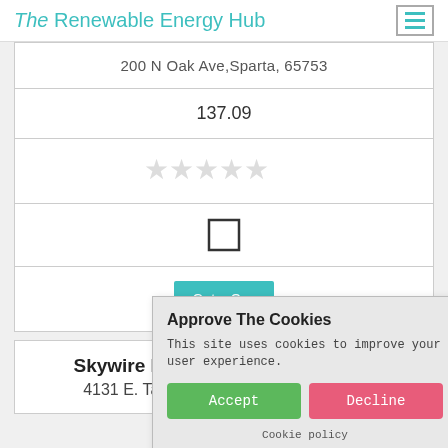The Renewable Energy Hub
200 N Oak Ave,Sparta, 65753
137.09
[Figure (other): Five empty star rating icons in light gray]
[Figure (other): Empty checkbox square]
Get a Quote
Approve The Cookies
This site uses cookies to improve your user experience.
Accept
Decline
Cookie policy
Skywire Electrical Systems LLC
4131 E. Tanglewood,Rogersville, 65742